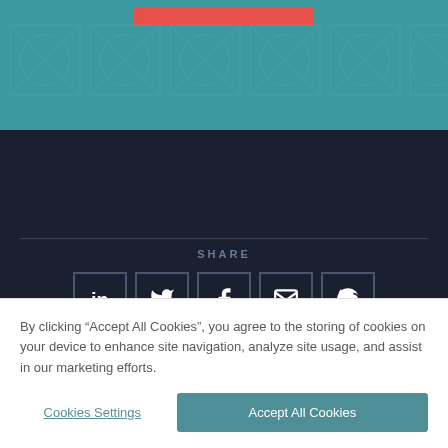[Figure (screenshot): Teal background header image with geometric line pattern and a red/coral horizontal bar at top center]
SHARE
[Figure (infographic): Row of five social media share icon buttons: LinkedIn, Twitter, Facebook, Email, WhatsApp]
[Figure (logo): CLEVR company logo — geometric square with intersecting circles in dark background]
CLEVR
CLEVR is the low-code and no-code Software-
By clicking “Accept All Cookies”, you agree to the storing of cookies on your device to enhance site navigation, analyze site usage, and assist in our marketing efforts.
Cookies Settings
Accept All Cookies